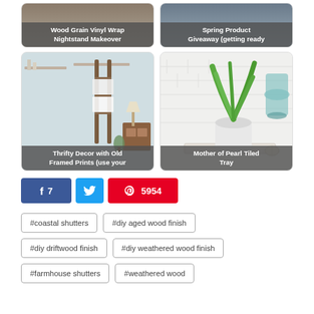[Figure (photo): Wood Grain Vinyl Wrap Nightstand Makeover - top portion of image cut off]
[Figure (photo): Spring Product Giveaway (getting ready) - top portion of image cut off]
[Figure (photo): Thrifty Decor with Old Framed Prints (use your...) - bathroom interior with ladder and towels]
[Figure (photo): Mother of Pearl Tiled Tray - green plant in white pot on tray with teal vase]
f 7
Twitter icon
5954
#coastal shutters
#diy aged wood finish
#diy driftwood finish
#diy weathered wood finish
#farmhouse shutters
#weathered wood